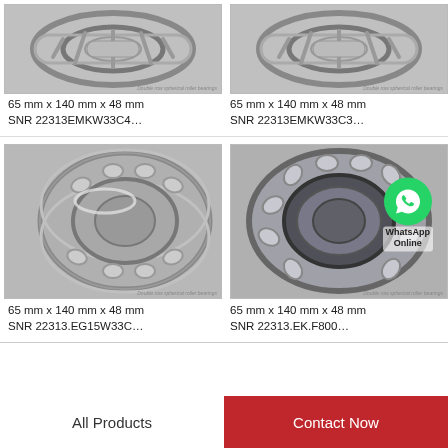[Figure (photo): Double row spherical roller bearing product image - top left]
65 mm x 140 mm x 48 mm
SNR 22313EMKW33C4…
[Figure (photo): Double row spherical roller bearing product image - top right]
65 mm x 140 mm x 48 mm
SNR 22313EMKW33C3…
[Figure (photo): Double row spherical roller bearing product image - bottom left]
65 mm x 140 mm x 48 mm
SNR 22313.EG15W33C…
[Figure (photo): Double row spherical roller bearing product image with WhatsApp Online overlay - bottom right]
65 mm x 140 mm x 48 mm
SNR 22313.EK.F800…
All Products | Contact Now